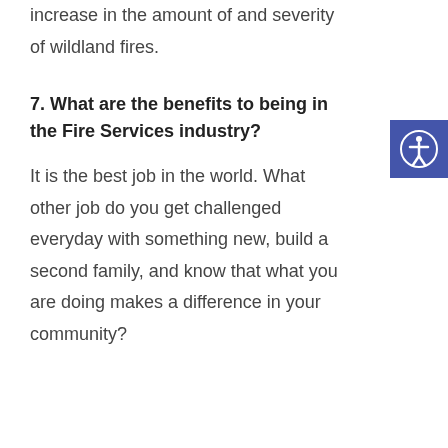increase in the amount of and severity of wildland fires.
7. What are the benefits to being in the Fire Services industry?
It is the best job in the world. What other job do you get challenged everyday with something new, build a second family, and know that what you are doing makes a difference in your community?